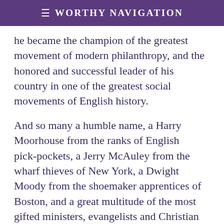≡ Worthy Navigation
he became the champion of the greatest movement of modern philanthropy, and the honored and successful leader of his country in one of the greatest social movements of English history.
And so many a humble name, a Harry Moorhouse from the ranks of English pick-pockets, a Jerry McAuley from the wharf thieves of New York, a Dwight Moody from the shoemaker apprentices of Boston, and a great multitude of the most gifted ministers, evangelists and Christian workers of today, all owe their mental force and that combination of qualities, which constitutes real genius, to the touch of God upon a mind which, without His grace and quickening life, would never have